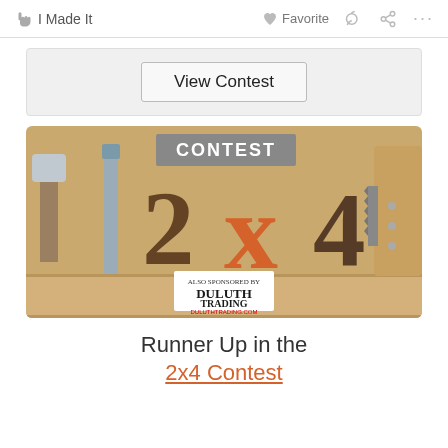I Made It   Favorite   ...
View Contest
[Figure (photo): Contest banner image showing '2x4 Contest' text made from wood block letters with tools (hammer, chisel, saw) on a wooden background, with Duluth Trading Co. logo at bottom]
Runner Up in the
2x4 Contest